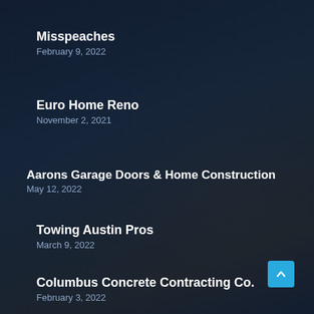Misspeaches
February 9, 2022
Euro Home Reno
November 2, 2021
Aarons Garage Doors & Home Construction
May 12, 2022
Towing Austin Pros
March 9, 2022
Columbus Concrete Contracting Co.
February 3, 2022